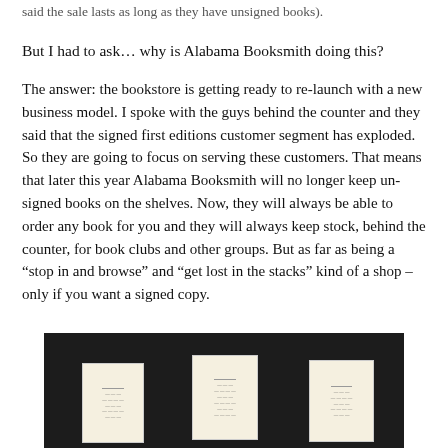said the sale lasts as long as they have unsigned books).
But I had to ask… why is Alabama Booksmith doing this?
The answer: the bookstore is getting ready to re-launch with a new business model. I spoke with the guys behind the counter and they said that the signed first editions customer segment has exploded. So they are going to focus on serving these customers. That means that later this year Alabama Booksmith will no longer keep un-signed books on the shelves. Now, they will always be able to order any book for you and they will always keep stock, behind the counter, for book clubs and other groups. But as far as being a "stop in and browse" and "get lost in the stacks" kind of a shop – only if you want a signed copy.
[Figure (photo): Photo of three book cards/frames displayed on a dark surface, each containing text and possibly small images, viewed from a slight angle.]